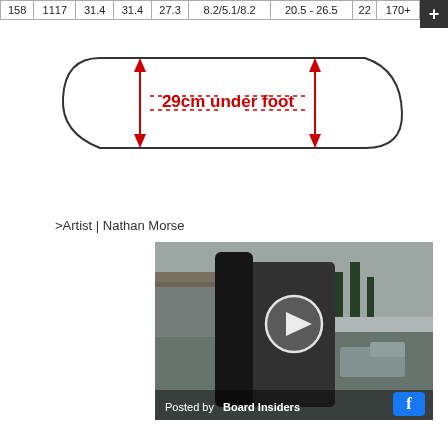| 158 | 1117 | 31.4 | 31.4 | 27.3 | 8.2/5.1/8.2 | 20.5 - 26.5 | 22 | 170+ |
| --- | --- | --- | --- | --- | --- | --- | --- | --- |
[Figure (illustration): Snowboard top-view outline diagram showing 29cm under foot measurement with red double-headed arrows at nose and tail, and dotted red lines indicating the foot stance width]
>Artist | Nathan Morse
[Figure (screenshot): Video thumbnail showing a person holding a snowboard outdoors in a snowy parking lot. Overlaid text reads 'Posted by Board Insiders' with a Facebook icon in the bottom right and a play button in the center.]